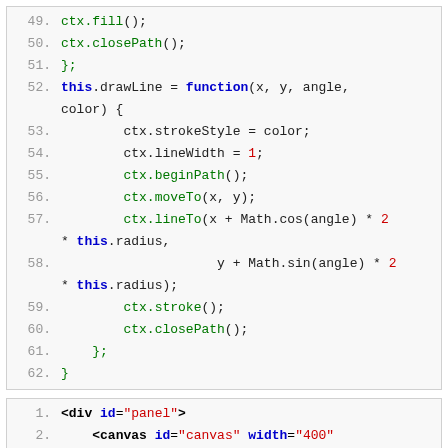[Figure (screenshot): Code block showing JavaScript lines 49-62: ctx.fill(), ctx.closePath(), this.drawLine function definition with strokeStyle, lineWidth, beginPath, moveTo, lineTo using Math.cos and Math.sin, ctx.stroke(), ctx.closePath(), closing braces.]
[Figure (screenshot): Code block showing HTML lines 1-3: <div id='panel'>, <canvas id='canvas' width='400' height='300'></canvas>, </div>]